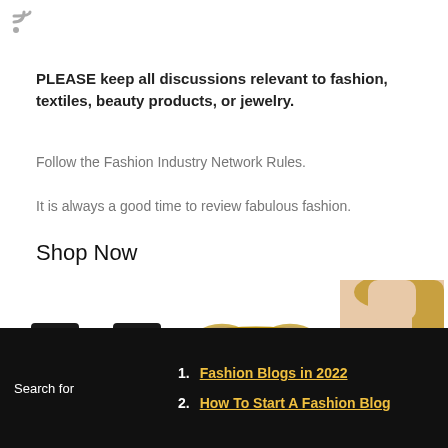[Figure (logo): RSS feed icon (gray wifi/signal arcs) top left]
PLEASE keep all discussions relevant to fashion, textiles, beauty products, or jewelry.
Follow the Fashion Industry Network Rules.
It is always a good time to review fabulous fashion.
Shop Now
[Figure (photo): Black wayfarer-style sunglasses]
[Figure (photo): Gold aviator sunglasses]
[Figure (photo): Woman wearing nude strapless push-up bra]
Ray Ban RB2132 N...   Ray Ban RB3695...   Fashion E...
Search for
1. Fashion Blogs in 2022
2. How To Start A Fashion Blog